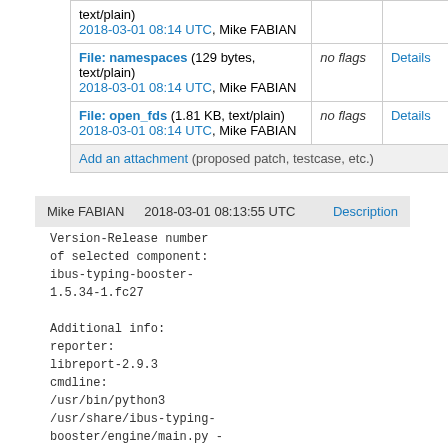| File | Flags | Details |
| --- | --- | --- |
| text/plain)
2018-03-01 08:14 UTC, Mike FABIAN |  |  |
| File: namespaces (129 bytes, text/plain)
2018-03-01 08:14 UTC, Mike FABIAN | no flags | Details |
| File: open_fds (1.81 KB, text/plain)
2018-03-01 08:14 UTC, Mike FABIAN | no flags | Details |
| Add an attachment (proposed patch, testcase, etc.) |  |  |
Mike FABIAN    2018-03-01 08:13:55 UTC    Description
Version-Release number
of selected component:
ibus-typing-booster-
1.5.34-1.fc27

Additional info:
reporter:
libreport-2.9.3
cmdline:
/usr/bin/python3
/usr/share/ibus-typing-
booster/engine/main.py -
-profile --ibus
crash_function: _index
exception_type:
AttributeError